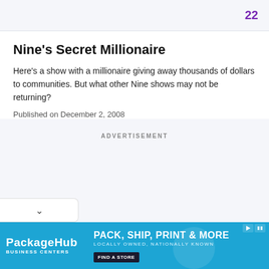22
Nine's Secret Millionaire
Here's a show with a millionaire giving away thousands of dollars to communities. But what other Nine shows may not be returning?
Published on December 2, 2008
ADVERTISEMENT
[Figure (other): PackageHub Business Centers advertisement banner: blue background with logo and tagline 'PACK, SHIP, PRINT & MORE' and 'LOCALLY OWNED, NATIONALLY KNOWN']